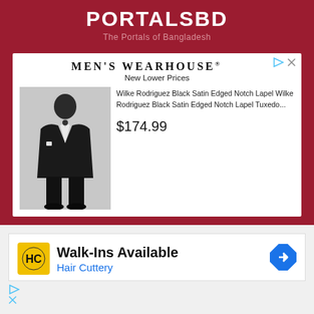PORTALSBD
The Portals of Bangladesh
[Figure (screenshot): Men's Wearhouse advertisement showing a man in a black tuxedo suit. Text reads: MEN'S WEARHOUSE® New Lower Prices. Product: Wilke Rodriguez Black Satin Edged Notch Lapel Wilke Rodriguez Black Satin Edged Notch Lapel Tuxedo... Price: $174.99]
[Figure (screenshot): Hair Cuttery advertisement with HC logo in yellow square. Text: Walk-Ins Available, Hair Cuttery. Blue navigation arrow icon on right. Ad attribution icons (triangle and X) at bottom.]